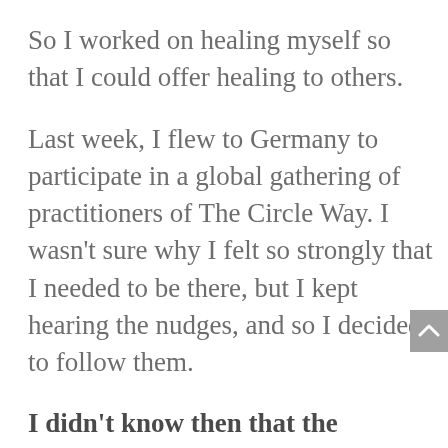So I worked on healing myself so that I could offer healing to others.
Last week, I flew to Germany to participate in a global gathering of practitioners of The Circle Way. I wasn't sure why I felt so strongly that I needed to be there, but I kept hearing the nudges, and so I decided to follow them.
I didn't know then that the gathering would represent some of the healing I'd wanted to find on that island in